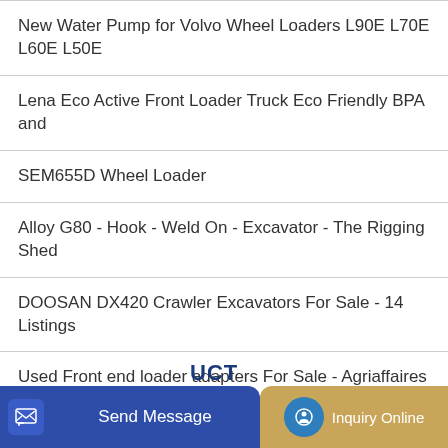New Water Pump for Volvo Wheel Loaders L90E L70E L60E L50E
Lena Eco Active Front Loader Truck Eco Friendly BPA and
SEM655D Wheel Loader
Alloy G80 - Hook - Weld On - Excavator - The Rigging Shed
DOOSAN DX420 Crawler Excavators For Sale - 14 Listings
Used Front end loader adapters For Sale - Agriaffaires USA
[Figure (screenshot): Bottom navigation bar with 'Send Message' button (blue) on the left and 'Inquiry Online' button (tan/gold) on the right, with partial text 'UCT' visible in dark blue between them]